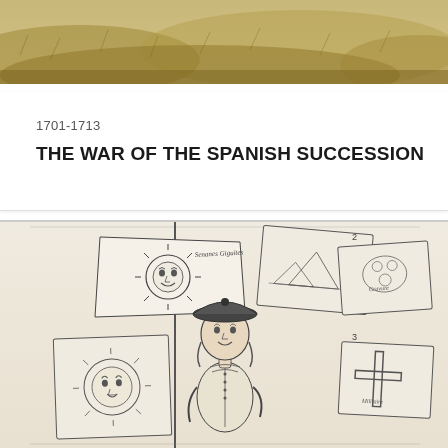[Figure (photo): Top portion of painting showing grassy/golden field landscape, partially cropped]
1701-1713
THE WAR OF THE SPANISH SUCCESSION
[Figure (illustration): Historical engraving showing a soldier in 18th-century military uniform holding a flag/standard with a sun motif, surrounded by various military flags and standards numbered 1, 2, 3. The soldier wears a tricorn hat and period uniform.]